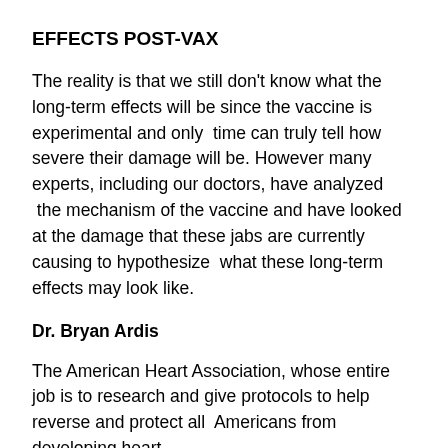EFFECTS POST-VAX
The reality is that we still don't know what the long-term effects will be since the vaccine is experimental and only  time can truly tell how severe their damage will be. However many experts, including our doctors, have analyzed  the mechanism of the vaccine and have looked at the damage that these jabs are currently causing to hypothesize  what these long-term effects may look like.
Dr. Bryan Ardis
The American Heart Association, whose entire job is to research and give protocols to help reverse and protect all  Americans from developing heart